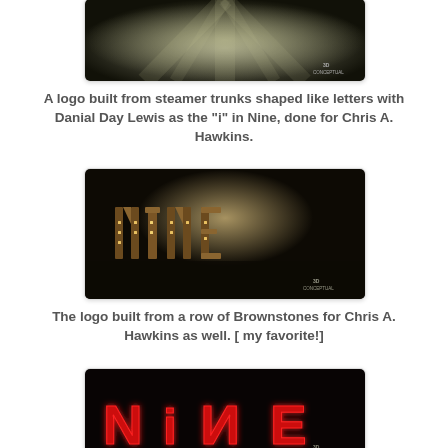[Figure (photo): Dark atmospheric image with light rays, appears to be a 3D rendering with 3D Conceptual logo watermark in bottom right]
A logo built from steamer trunks shaped like letters with Danial Day Lewis as the "i" in Nine, done for Chris A. Hawkins.
[Figure (photo): 3D rendered image of the word NINE built from brownstone buildings with glowing windows against a moody sky, 3D Conceptual watermark]
The logo built from a row of Brownstones for Chris A. Hawkins as well. [ my favorite!]
[Figure (photo): 3D rendered NINE logo with glowing red neon-style letters on black background, 3D Conceptual watermark visible]